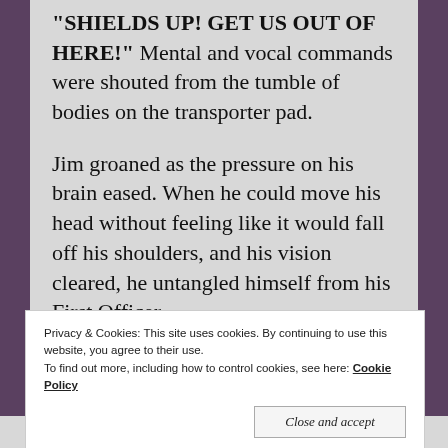"SHIELDS UP! GET US OUT OF HERE!" Mental and vocal commands were shouted from the tumble of bodies on the transporter pad.
Jim groaned as the pressure on his brain eased. When he could move his head without feeling like it would fall off his shoulders, and his vision cleared, he untangled himself from his First Officer
Privacy & Cookies: This site uses cookies. By continuing to use this website, you agree to their use.
To find out more, including how to control cookies, see here: Cookie Policy
Close and accept